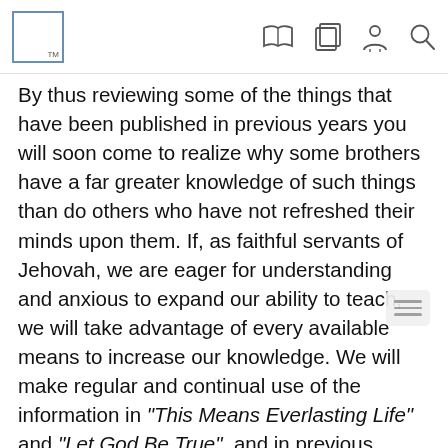TM [logo with book, copy, person, search icons]
By thus reviewing some of the things that have been published in previous years you will soon come to realize why some brothers have a far greater knowledge of such things than do others who have not refreshed their minds upon them. If, as faithful servants of Jehovah, we are eager for understanding and anxious to expand our ability to teach, we will take advantage of every available means to increase our knowledge. We will make regular and continual use of the information in “This Means Everlasting Life” and “Let God Be True”, and in previous issues of The Watchtower and in other Society publications. As Paul instructed Timothy, we will continue applying ourselves to public reading, to exhortation and to teaching. We will ponder over these things, we will be absorbed in them, letting our advancement be manifest to all persons. We will continue to improve our service,